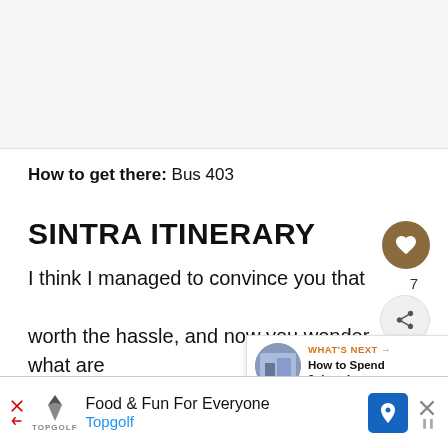[Figure (photo): Image placeholder area at top of article page]
How to get there: Bus 403
SINTRA ITINERARY
I think I managed to convince you that [it's] worth the hassle, and now you wonder, what are do[ors]?
[Figure (infographic): WHAT'S NEXT arrow banner: How to Spend 3 days in...]
[Figure (infographic): Advertisement banner: Food & Fun For Everyone - Topgolf]